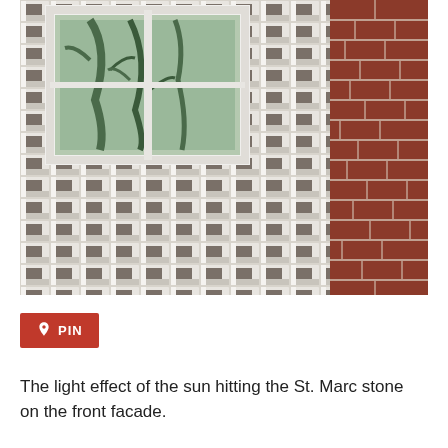[Figure (photo): Close-up photograph of a building facade showing a pattern of protruding stone blocks (St. Marc stone) in white/grey with dark centers creating a 3D diamond pattern effect. A white-framed window is visible in the upper left portion. A section of red brick wall is visible on the right side.]
PIN
The light effect of the sun hitting the St. Marc stone on the front facade.